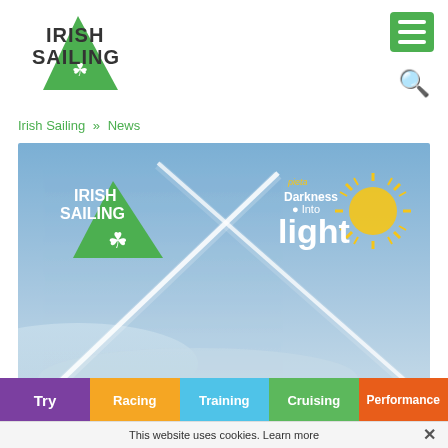[Figure (logo): Irish Sailing logo with green sail and shamrock]
[Figure (other): Hamburger menu icon (green square with three white lines) and search magnifying glass icon]
Irish Sailing » News
[Figure (photo): Photo of blue sky with white contrail X pattern and clouds; overlaid with Irish Sailing logo (left) and Pieta Darkness Into Light logo (right)]
Try  Racing  Training  Cruising  Performance
This website uses cookies. Learn more